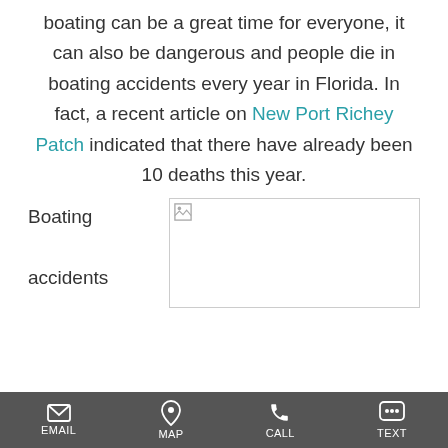boating can be a great time for everyone, it can also be dangerous and people die in boating accidents every year in Florida. In fact, a recent article on New Port Richey Patch indicated that there have already been 10 deaths this year.
Boating accidents
[Figure (photo): Broken/missing image placeholder]
EMAIL  MAP  CALL  TEXT